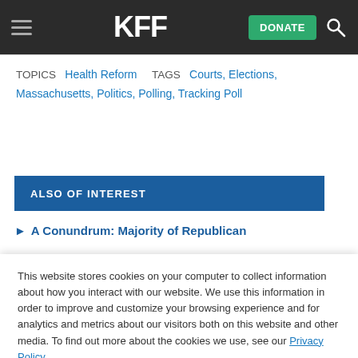KFF — DONATE [search icon]
TOPICS  Health Reform    TAGS  Courts, Elections, Massachusetts, Politics, Polling, Tracking Poll
ALSO OF INTEREST
A Conundrum: Majority of Republican
This website stores cookies on your computer to collect information about how you interact with our website. We use this information in order to improve and customize your browsing experience and for analytics and metrics about our visitors both on this website and other media. To find out more about the cookies we use, see our Privacy Policy.
Accept